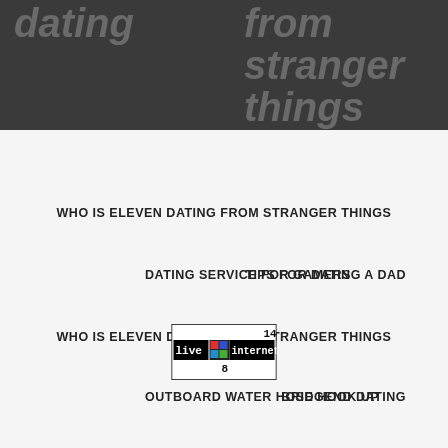dating from stranger things
WHO IS ELEVEN DATING FROM STRANGER THINGS
DATING SERVICE FOR GAMERS
TIPS FOR DATING A DAD
WHO IS ELEVEN DATING FROM STRANGER THINGS
OUTBOARD WATER HOSE HOOK UP
BRIDGEND DATING
[Figure (logo): LiveInternet badge showing number 14 and 8]